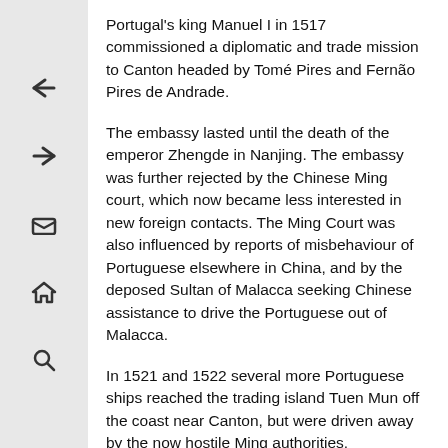Portugal's king Manuel I in 1517 commissioned a diplomatic and trade mission to Canton headed by Tomé Pires and Fernão Pires de Andrade.
The embassy lasted until the death of the emperor Zhengde in Nanjing. The embassy was further rejected by the Chinese Ming court, which now became less interested in new foreign contacts. The Ming Court was also influenced by reports of misbehaviour of Portuguese elsewhere in China, and by the deposed Sultan of Malacca seeking Chinese assistance to drive the Portuguese out of Malacca.
In 1521 and 1522 several more Portuguese ships reached the trading island Tuen Mun off the coast near Canton, but were driven away by the now hostile Ming authorities.